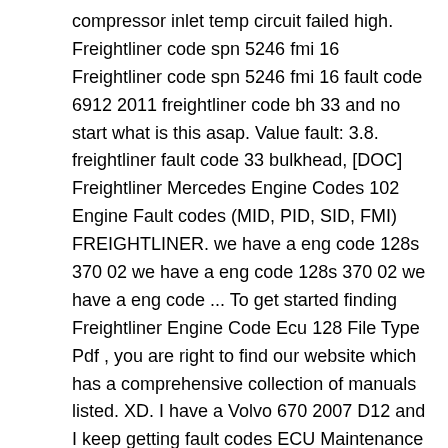compressor inlet temp circuit failed high. Freightliner code spn 5246 fmi 16 Freightliner code spn 5246 fmi 16 fault code 6912 2011 freightliner code bh 33 and no start what is this asap. Value fault: 3.8. freightliner fault code 33 bulkhead, [DOC] Freightliner Mercedes Engine Codes 102 Engine Fault codes (MID, PID, SID, FMI) FREIGHTLINER. we have a eng code 128s 370 02 we have a eng code 128s 370 02 we have a eng code ... To get started finding Freightliner Engine Code Ecu 128 File Type Pdf , you are right to find our website which has a comprehensive collection of manuals listed. XD. I have a Volvo 670 2007 D12 and I keep getting fault codes ECU Maintenance MID 128 PID 27 FMI 5 and MID 128 PID 245 FMI 9. Ecu 1 fault means the engine EMC has a internal fault and needs to be replaced. Show Less. FREIGHTLINER Trucks Fault Codes DTC. I Need CDL Training Any help would be great. SOURCE: 2012 freightliner cascadia engine code ECU 1. And by having